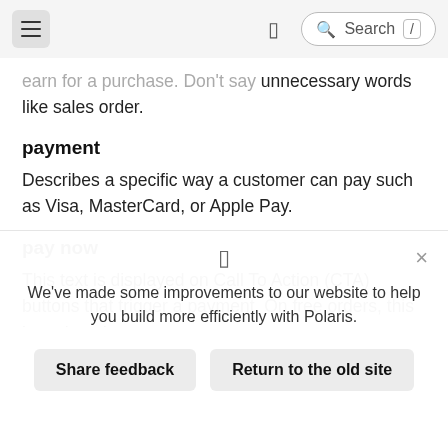Navigation bar with hamburger menu, phone icon, and Search input
earn for a purchase. Don't say unnecessary words like sales order.
payment
Describes a specific way a customer can pay such as Visa, MasterCard, or Apple Pay.
pay now
This text is displayed on Call To Action (CTA) buttons that trigger a payment. On free orders, this is replaced
We've made some improvements to our website to help you build more efficiently with Polaris.
Share feedback   Return to the old site